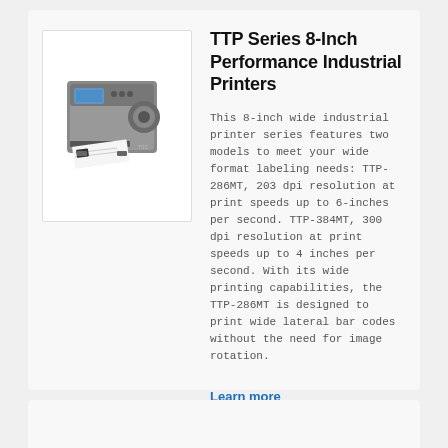[Figure (photo): Industrial label printer (TTP Series 8-Inch) shown from front-right angle, printing a label, grey/black body with small display panel]
TTP Series 8-Inch Performance Industrial Printers
This 8-inch wide industrial printer series features two models to meet your wide format labeling needs: TTP-286MT, 203 dpi resolution at print speeds up to 6-inches per second. TTP-384MT, 300 dpi resolution at print speeds up to 4 inches per second. With its wide printing capabilities, the TTP-286MT is designed to print wide lateral bar codes without the need for image rotation.
Learn more